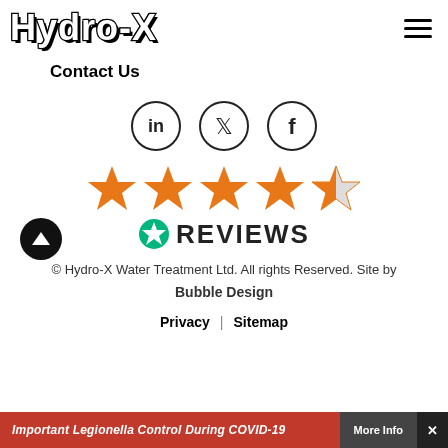Hydro-X
Contact Us
[Figure (illustration): Social media icons: LinkedIn, Twitter, Facebook in circles]
[Figure (illustration): 4.5 star rating in orange stars with Trustpilot REVIEWS badge]
© Hydro-X Water Treatment Ltd. All rights Reserved. Site by Bubble Design
Privacy | Sitemap
Important Legionella Control During COVID-19  More Info  ✕